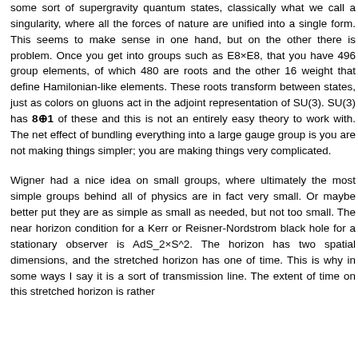some sort of supergravity quantum states, classically what we call a singularity, where all the forces of nature are unified into a single form. This seems to make sense in one hand, but on the other there is problem. Once you get into groups such as E8×E8, that you have 496 group elements, of which 480 are roots and the other 16 weight that define Hamilonian-like elements. These roots transform between states, just as colors on gluons act in the adjoint representation of SU(3). SU(3) has 8⊕1 of these and this is not an entirely easy theory to work with. The net effect of bundling everything into a large gauge group is you are not making things simpler; you are making things very complicated.
Wigner had a nice idea on small groups, where ultimately the most simple groups behind all of physics are in fact very small. Or maybe better put they are as simple as small as needed, but not too small. The near horizon condition for a Kerr or Reisner-Nordstrom black hole for a stationary observer is AdS_2×S^2. The horizon has two spatial dimensions, and the stretched horizon has one of time. This is why in some ways I say it is a sort of transmission line. The extent of time on this stretched horizon is rather